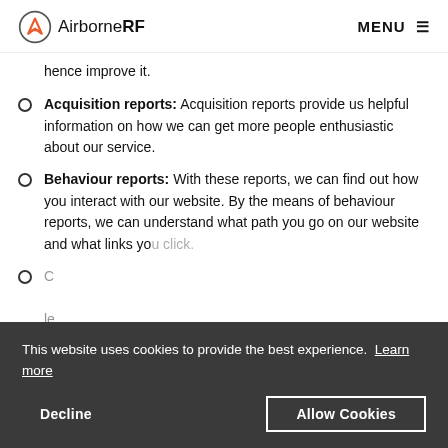AirborneRF | MENU
hence improve it.
Acquisition reports: Acquisition reports provide us helpful information on how we can get more people enthusiastic about our service.
Behaviour reports: With these reports, we can find out how you interact with our website. By the means of behaviour reports, we can understand what path you go on our website and what links you click.
Conversion reports: ...leads... ...marketing... ...transactions... a buyer or a newsletter subscriber. Hence, with
This website uses cookies to provide the best experience. Learn more
Decline  Allow Cookies